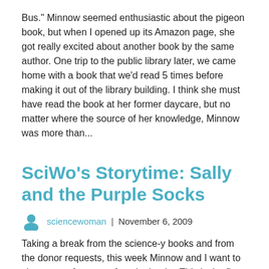Bus." Minnow seemed enthusiastic about the pigeon book, but when I opened up its Amazon page, she got really excited about another book by the same author. One trip to the public library later, we came home with a book that we'd read 5 times before making it out of the library building. I think she must have read the book at her former daycare, but no matter where the source of her knowledge, Minnow was more than...
SciWo's Storytime: Sally and the Purple Socks
sciencewoman | November 6, 2009
Taking a break from the science-y books and from the donor requests, this week Minnow and I want to share one of our new favorite books. This is the first book that we've checked out of the library that Minnow is still talking about more than a month after we returned it. In fact, she and I love this book so much that our Amazon wish list is delivering a Christmas present early and our very own copy is on its way to us right now. Without further ado, we present Sally and the Purple Socks by Lisze Bechtold; If you watched through to the end of the video, you